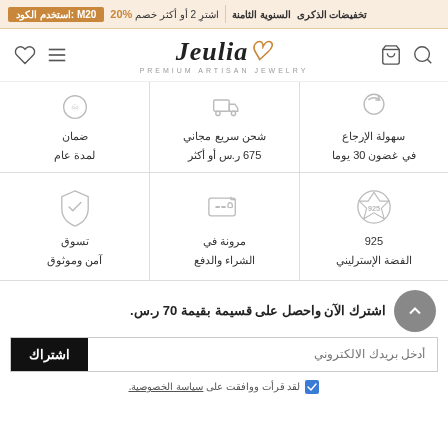تخفيضات الذكرى السنوية الثامنة — اشترِ 2 أو أكثر خصم 20% — استخدم الكود: M20
[Figure (logo): Jeulia Premium Artisan Jewelry logo with cart, search, heart and menu icons]
سهولة الإرجاع في غضون 30 يوما
شحن سريع مجاني 675 ر.س أو أكثر
ضمان لمدة عام
925 الفضة الإسترليني
مرونة في الشراء والدفع
تسوق آمن وموثوق
اشترك الآن واحصل على قسيمة بقيمة 70 ر.س.
أدخل بريدك الالكتروني
اشتراك
لقد قرأت ووافقت على سياسة الخصوصية.